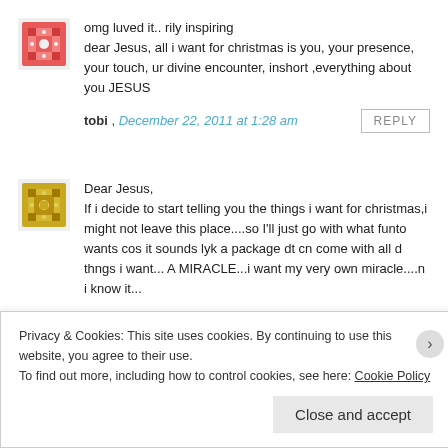[Figure (illustration): Pink/red decorative square avatar with geometric pattern]
omg luved it.. rily inspiring
dear Jesus, all i want for christmas is you, your presence, your touch, ur divine encounter, inshort ,everything about you JESUS
tobi , December 22, 2011 at 1:28 am
[Figure (illustration): Gold/yellow decorative square avatar with geometric pattern]
Dear Jesus,
If i decide to start telling you the things i want for christmas,i might not leave this place....so I'll just go with what funto wants cos it sounds lyk a package dt cn come with all d thngs i want... A MIRACLE...i want my very own miracle....n i know it...
Privacy & Cookies: This site uses cookies. By continuing to use this website, you agree to their use.
To find out more, including how to control cookies, see here: Cookie Policy
Close and accept